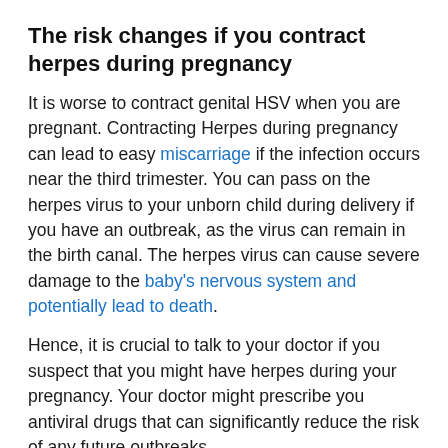The risk changes if you contract herpes during pregnancy
It is worse to contract genital HSV when you are pregnant. Contracting Herpes during pregnancy can lead to easy miscarriage if the infection occurs near the third trimester. You can pass on the herpes virus to your unborn child during delivery if you have an outbreak, as the virus can remain in the birth canal. The herpes virus can cause severe damage to the baby's nervous system and potentially lead to death.
Hence, it is crucial to talk to your doctor if you suspect that you might have herpes during your pregnancy. Your doctor might prescribe you antiviral drugs that can significantly reduce the risk of any future outbreaks.
Try not to panic